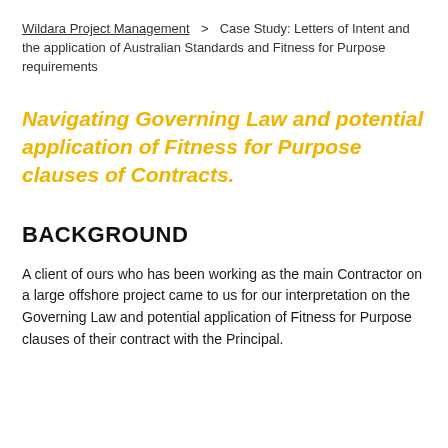Wildara Project Management > Case Study: Letters of Intent and the application of Australian Standards and Fitness for Purpose requirements
Navigating Governing Law and potential application of Fitness for Purpose clauses of Contracts.
BACKGROUND
A client of ours who has been working as the main Contractor on a large offshore project came to us for our interpretation on the Governing Law and potential application of Fitness for Purpose clauses of their contract with the Principal.